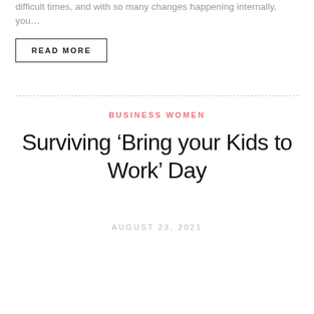difficult times, and with so many changes happening internally, you…
READ MORE
BUSINESS WOMEN
Surviving ‘Bring your Kids to Work’ Day
AUGUST 23, 2021